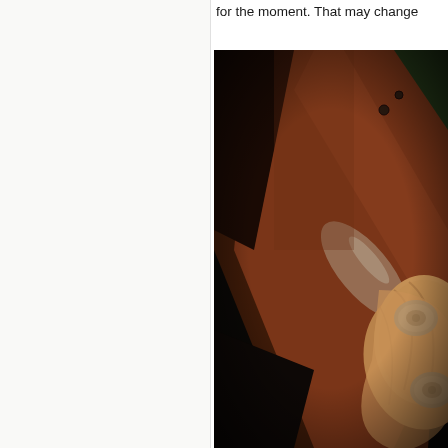for the moment. That may change
[Figure (photo): Close-up photograph of a rusty metal structure with a wooden wheel or pulley mechanism featuring metal hardware, shot in dark moody lighting]